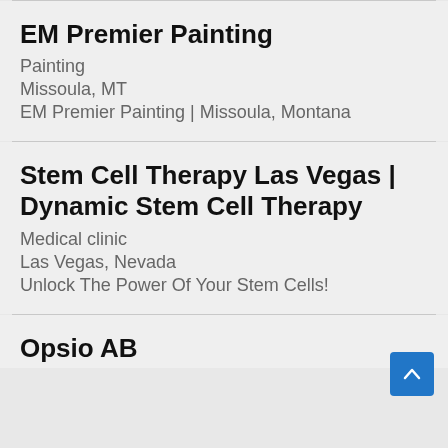EM Premier Painting
Painting
Missoula, MT
EM Premier Painting | Missoula, Montana
Stem Cell Therapy Las Vegas | Dynamic Stem Cell Therapy
Medical clinic
Las Vegas, Nevada
Unlock The Power Of Your Stem Cells!
Opsio AB